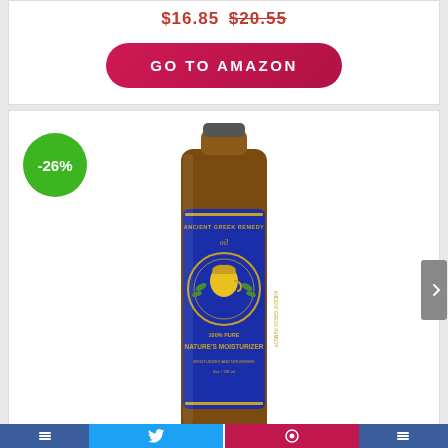$16.85 $20.55
GO TO AMAZON
[Figure (photo): Amber glass bottle of Ancient Greek Remedy Oil - 100% Pure Nature's Moisturizer with blue label, shown with -26% discount badge]
100% Organic Blend of Olive, Lavender, Almond and Grapeseed oils with Vitamin E. Daily Moisturizer for Skin, Hair, Face, Cuticle, Nail, Scalp, Foot. Pure Cold Pressed, Full Body oil for Men and Women